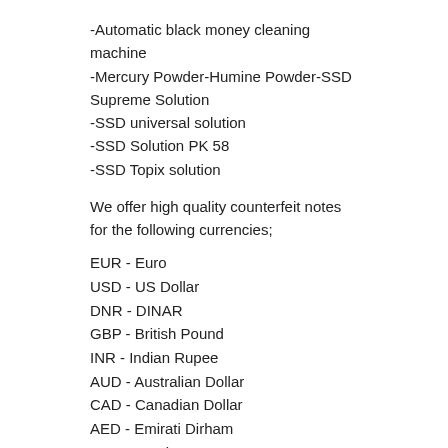-Automatic black money cleaning machine
-Mercury Powder-Humine Powder-SSD Supreme Solution
-SSD universal solution
-SSD Solution PK 58
-SSD Topix solution
We offer high quality counterfeit notes for the following currencies;
EUR - Euro
USD - US Dollar
DNR - DINAR
GBP - British Pound
INR - Indian Rupee
AUD - Australian Dollar
CAD - Canadian Dollar
AED - Emirati Dirham
ZAR - Rand
CHF - Swiss Franc
CNY - Chinese Yuan Renminbi